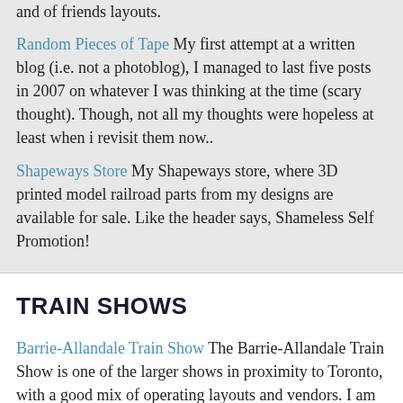and of friends layouts.
Random Pieces of Tape My first attempt at a written blog (i.e. not a photoblog), I managed to last five posts in 2007 on whatever I was thinking at the time (scary thought). Though, not all my thoughts were hopeless at least when i revisit them now..
Shapeways Store My Shapeways store, where 3D printed model railroad parts from my designs are available for sale. Like the header says, Shameless Self Promotion!
TRAIN SHOWS
Barrie-Allandale Train Show The Barrie-Allandale Train Show is one of the larger shows in proximity to Toronto, with a good mix of operating layouts and vendors. I am normally in attendance with the Toronto Railway Museum displaying models of the museum.
Great British Train Show The Great British Train